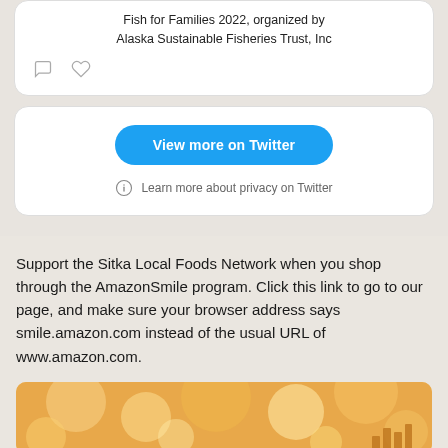Fish for Families 2022, organized by Alaska Sustainable Fisheries Trust, Inc
[Figure (screenshot): Twitter embed widget showing 'View more on Twitter' button and privacy notice with info icon]
Support the Sitka Local Foods Network when you shop through the AmazonSmile program. Click this link to go to our page, and make sure your browser address says smile.amazon.com instead of the usual URL of www.amazon.com.
[Figure (photo): Bokeh-style warm orange/gold background image with bar chart icons at the bottom right, partial AmazonSmile image]